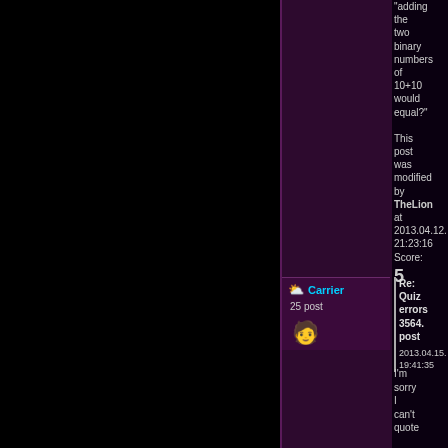"adding the two binary numbers of 10+10 would equal?"
This post was modified by TheLion at 2013.04.12. 21:23:16 Score: 5
Carrier
25 post
Re: Quiz errors 3564. post
2013.04.15. 19:41:35
I'm sorry I can't quote